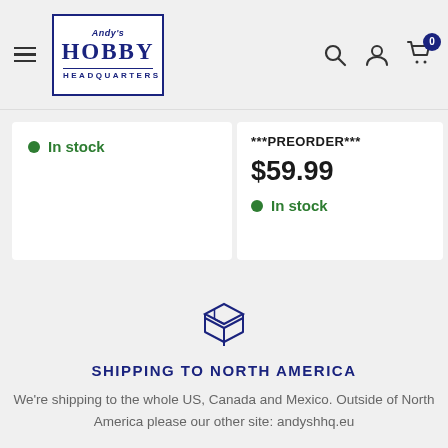[Figure (logo): Andy's Hobby Headquarters logo with border]
In stock
***PREORDER***
$59.99
In stock
[Figure (illustration): Package/box shipping icon]
SHIPPING TO NORTH AMERICA
We're shipping to the whole US, Canada and Mexico. Outside of North America please our other site: andyshhq.eu